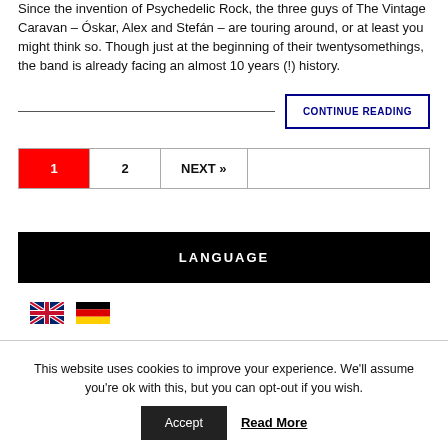Since the invention of Psychedelic Rock, the three guys of The Vintage Caravan – Óskar, Alex and Stefán – are touring around, or at least you might think so. Though just at the beginning of their twentysomethings, the band is already facing an almost 10 years (!) history.
CONTINUE READING
1 | 2 | NEXT »
LANGUAGE
[Figure (other): UK and German flag icons for language selection]
This website uses cookies to improve your experience. We'll assume you're ok with this, but you can opt-out if you wish.
Accept | Read More